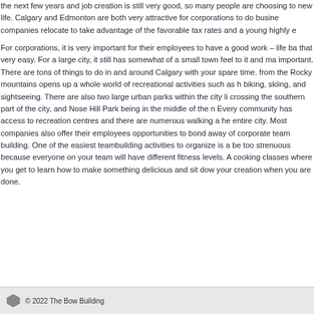the next few years and job creation is still very good, so many people are choosing to new life. Calgary and Edmonton are both very attractive for corporations to do busine companies relocate to take advantage of the favorable tax rates and a young highly e
For corporations, it is very important for their employees to have a good work – life ba that very easy. For a large city, it still has somewhat of a small town feel to it and ma important. There are tons of things to do in and around Calgary with your spare time. from the Rocky mountains opens up a whole world of recreational activities such as h biking, skiing, and sightseeing. There are also two large urban parks within the city li crossing the southern part of the city, and Nose Hill Park being in the middle of the n Every community has access to recreation centres and there are numerous walking a he entire city. Most companies also offer their employees opportunities to bond away of corporate team building. One of the easiest teambuilding activities to organize is a be too strenuous because everyone on your team will have different fitness levels. A cooking classes where you get to learn how to make something delicious and sit dow your creation when you are done.
© 2022 The Bow Building